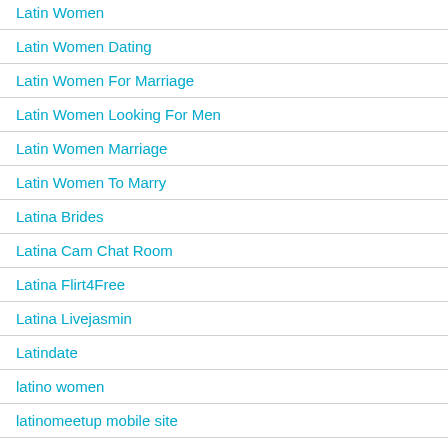Latin Women
Latin Women Dating
Latin Women For Marriage
Latin Women Looking For Men
Latin Women Marriage
Latin Women To Marry
Latina Brides
Latina Cam Chat Room
Latina Flirt4Free
Latina Livejasmin
Latindate
latino women
latinomeetup mobile site